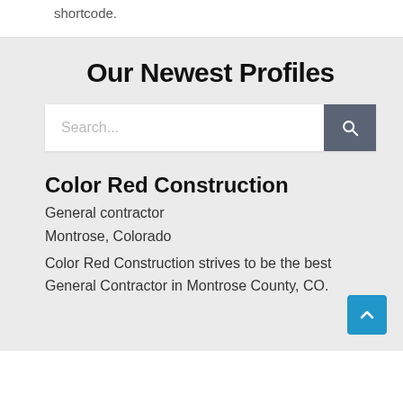shortcode.
Our Newest Profiles
[Figure (screenshot): Search bar with text input placeholder 'Search...' and a dark gray search button with magnifying glass icon]
Color Red Construction
General contractor
Montrose, Colorado
Color Red Construction strives to be the best General Contractor in Montrose County, CO.